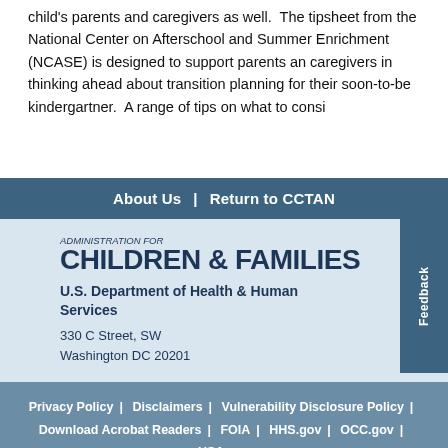child's parents and caregivers as well.  The tipsheet from the National Center on Afterschool and Summer Enrichment (NCASE) is designed to support parents an caregivers in thinking ahead about transition planning for their soon-to-be kindergartner.  A range of tips on what to consi
About Us  |  Return to CCTAN
[Figure (logo): Administration for Children & Families logo with text 'ADMINISTRATION FOR CHILDREN & FAMILIES']
U.S. Department of Health & Human Services
330 C Street, SW
Washington DC 20201
Privacy Policy  |  Disclaimers  |  Vulnerability Disclosure Policy  |  Download Acrobat Readers  |  FOIA  |  HHS.gov  |  OCC.gov  |  USA.gov